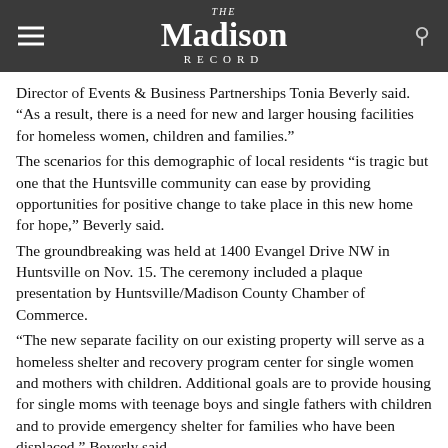The Madison Record
Director of Events & Business Partnerships Tonia Beverly said. “As a result, there is a need for new and larger housing facilities for homeless women, children and families.” The scenarios for this demographic of local residents “is tragic but one that the Huntsville community can ease by providing opportunities for positive change to take place in this new home for hope,” Beverly said. The groundbreaking was held at 1400 Evangel Drive NW in Huntsville on Nov. 15. The ceremony included a plaque presentation by Huntsville/Madison County Chamber of Commerce. “The new separate facility on our existing property will serve as a homeless shelter and recovery program center for single women and mothers with children. Additional goals are to provide housing for single moms with teenage boys and single fathers with children and to provide emergency shelter for families who have been displaced,” Beverly said.